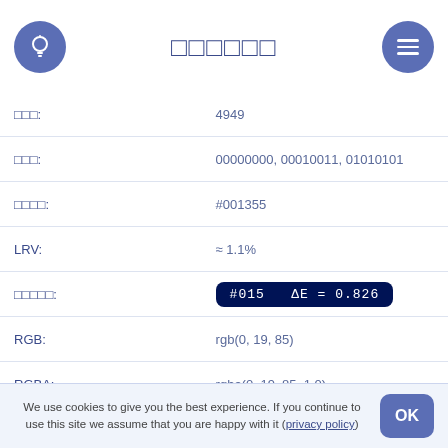□□□□□□
□□□: 4949
□□□: 00000000, 00010011, 01010101
□□□□: #001355
LRV: ≈ 1.1%
□□□□□: #015  ΔE = 0.826
RGB: rgb(0, 19, 85)
RGBA: rgba(0, 19, 85, 1.0)
rg□□: r: 0.000, g: 0.183, b: 0.817
RYB: □□: 0.000%, □□: 6.090%, □□: 33.333%
Android□android.graphics.Color: -16772267□0xff001355
We use cookies to give you the best experience. If you continue to use this site we assume that you are happy with it (privacy policy)